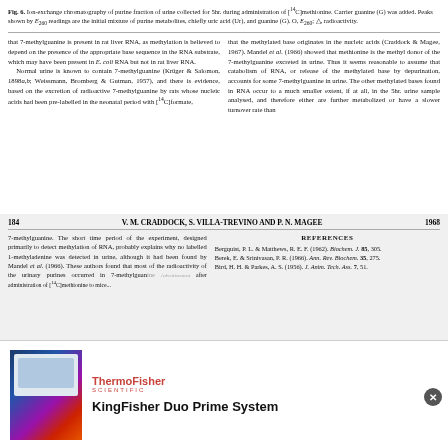Fig. 6. Ion-exchange chromatography of purine fraction of urine collected for 5hr. during administration of [14C]methionine. Carrier guanine (G) was added. Peaks shown by E260 readings are the initial mixture of purine metabolites, chiefly uric acid (Ur), and guanine (G). O, E260; △, radioactivity.
that 7-methylguanine is present in rat liver RNA, as methylation is believed to depend on the presence of the appropriate base sequence in the RNA substrate, which may have been present in E. coli RNA but not in rat liver RNA. Normal urine is known to contain 7-methylguanine (Krüger & Salomon, 1898a,b; Weissmann, Bromberg & Gutman, 1957), and there is evidence, based on the excretion of radioactive 7-methylguanine by rats whose nucleic acids had been pre-labelled in the neonatal period with [14C]formate,
that the methylated base originates in the nucleic acids (Craddock & Magee, 1967). Mandel et al. (1966) showed that methionine is the methyl donor of the 7-methylguanine excreted in urine. Thus it seems reasonable to assume that catabolism of RNA, or release of the methylated base by depurination, accounts for some 7-methylguanine in urine. The other methylated bases found in RNA occur to a much smaller extent, if at all, in the 5hr. urine sample analysed, and therefore either are further metabolized or have a slower turnover rate than
184     V. M. CRADDOCK, S. VILLA-TREVINO AND P. N. MAGEE     1968
7-methylguanine. The short time period of the experiment, designed primarily to detect methylation of RNA, probably explains why no labelled 1-methyladenine was detected in urine, although it had been found by Mandel et al. (1966). These authors found that most of the radioactivity of the urinary purines occurred in 7-methylguanine after administration of [14C]methionine to mice...
REFERENCES
Bergquist, P. L. & Matthews, R. E. F. (1962). Biochem. J. 85, 305.
Berek, E. & Srinivasan, P. R. (1966). Ann. Rev. Biochem. 35, 275.
Bird, H. H. & Parkes, A. S. (1956). J. Anim. Tech. Ass. 7, 51.
[Figure (photo): Advertisement image showing a laboratory instrument (KingFisher Duo Prime System) with colorful molecular/DNA imagery in the background]
KingFisher Duo Prime System